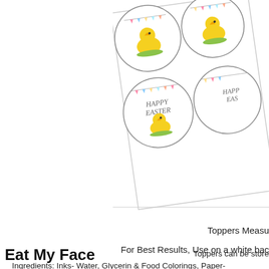[Figure (photo): Partial view of Easter cupcake toppers sheet showing circular stickers with a yellow chick and 'Happy Easter' text, with colorful bunting decorations, on a white background paper sheet.]
Toppers Measu
For Best Results, Use on a white bac
Toppers can be store
Ingredients: Inks- Water, Glycerin & Food Colorings, Paper-
Eat My Face